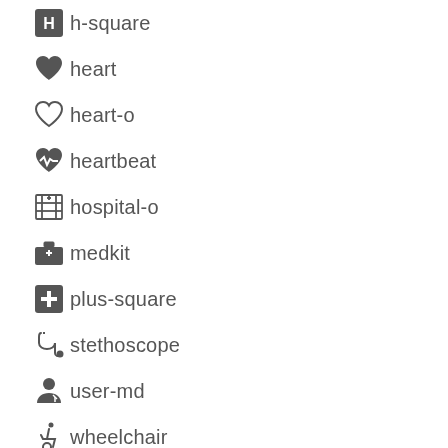h-square
heart
heart-o
heartbeat
hospital-o
medkit
plus-square
stethoscope
user-md
wheelchair
SVG Icons
svg-burger